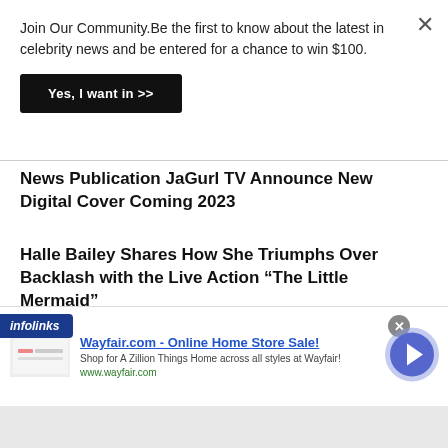Join Our Community.Be the first to know about the latest in celebrity news and be entered for a chance to win $100.
Yes, I want in >>
News Publication JaGurl TV Announce New Digital Cover Coming 2023
Halle Bailey Shares How She Triumphs Over Backlash with the Live Action “The Little Mermaid”
[Figure (screenshot): Infolinks ad banner for Wayfair.com - Online Home Store Sale! with text 'Shop for A Zillion Things Home across all styles at Wayfair!' and url www.wayfair.com]